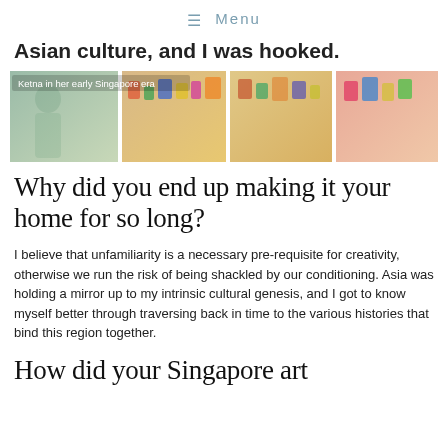≡ Menu
Asian culture, and I was hooked.
[Figure (photo): Photo collage of Ketna in her early Singapore era, showing a woman among colorful market stalls and merchandise displays]
Ketna in her early Singapore era
Why did you end up making it your home for so long?
I believe that unfamiliarity is a necessary pre-requisite for creativity, otherwise we run the risk of being shackled by our conditioning. Asia was holding a mirror up to my intrinsic cultural genesis, and I got to know myself better through traversing back in time to the various histories that bind this region together.
How did your Singapore art